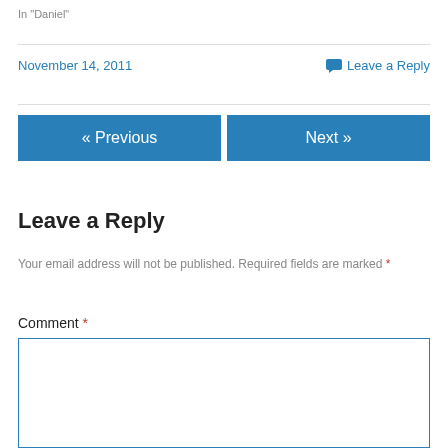In "Daniel"
November 14, 2011
Leave a Reply
« Previous
Next »
Leave a Reply
Your email address will not be published. Required fields are marked *
Comment *